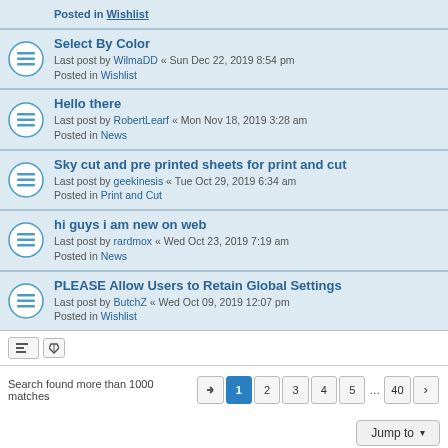Posted in Wishlist (partial top row)
Select By Color
Last post by WilmaDD « Sun Dec 22, 2019 8:54 pm
Posted in Wishlist
Hello there
Last post by RobertLearf « Mon Nov 18, 2019 3:28 am
Posted in News
Sky cut and pre printed sheets for print and cut
Last post by geekinesis « Tue Oct 29, 2019 6:34 am
Posted in Print and Cut
hi guys i am new on web
Last post by rardmox « Wed Oct 23, 2019 7:19 am
Posted in News
PLEASE Allow Users to Retain Global Settings
Last post by ButchZ « Wed Oct 09, 2019 12:07 pm
Posted in Wishlist
Search found more than 1000 matches
Board index   Contact us   Delete cookies   All times are UTC-08:00
Powered by phpBB® Forum Software © phpBB Limited